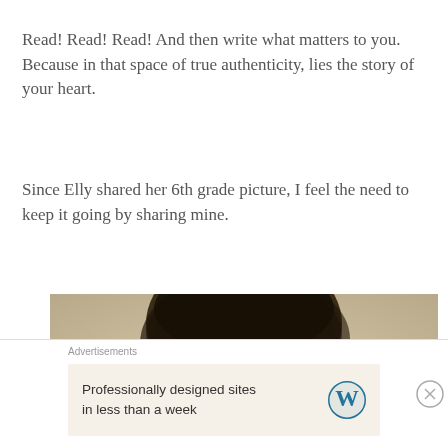Read! Read! Read! And then write what matters to you. Because in that space of true authenticity, lies the story of your heart.
Since Elly shared her 6th grade picture, I feel the need to keep it going by sharing mine.
[Figure (photo): A sepia-toned school portrait photograph showing the top portion of a child's head with dark hair, cropped to show primarily the hair and forehead against a light beige background.]
Advertisements
Professionally designed sites in less than a week